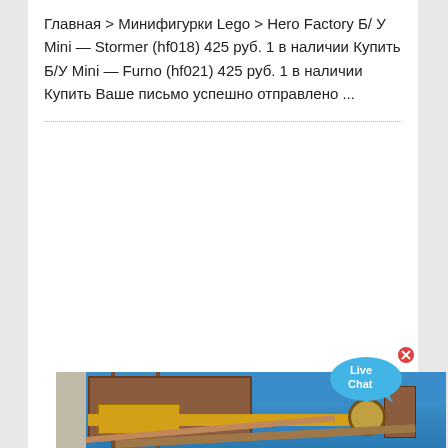Главная > Минифигурки Lego > Hero Factory Б/ У Mini — Stormer (hf018) 425 руб. 1 в наличии Купить Б/У Mini — Furno (hf021) 425 руб. 1 в наличии Купить Ваше письмо успешно отправлено ...
[Figure (photo): Industrial machinery photo showing a large yellow and brown/rust-colored mining or crushing plant structure with a concrete pillar on the left, metal framework, yellow equipment, a large circular wheel/pulley on the right side, and conveyor belts. Blue sky in background.]